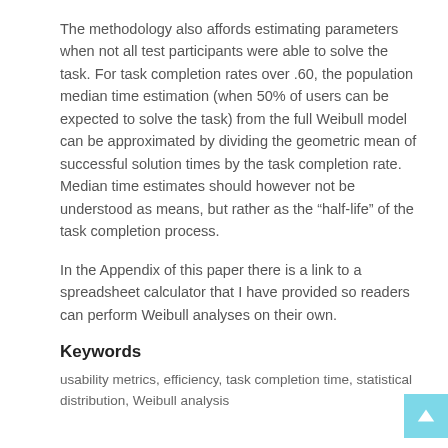The methodology also affords estimating parameters when not all test participants were able to solve the task. For task completion rates over .60, the population median time estimation (when 50% of users can be expected to solve the task) from the full Weibull model can be approximated by dividing the geometric mean of successful solution times by the task completion rate. Median time estimates should however not be understood as means, but rather as the “half-life” of the task completion process.
In the Appendix of this paper there is a link to a spreadsheet calculator that I have provided so readers can perform Weibull analyses on their own.
Keywords
usability metrics, efficiency, task completion time, statistical distribution, Weibull analysis